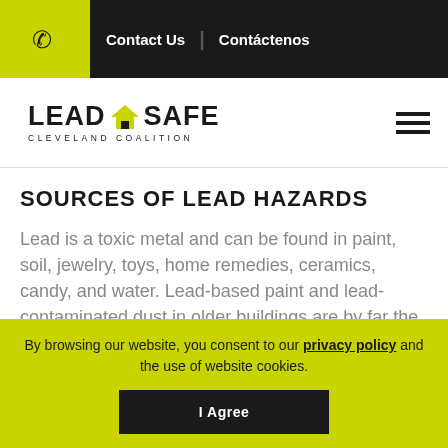Contact Us | Contáctenos
[Figure (logo): Lead Safe Cleveland Coalition logo with house icon]
SOURCES OF LEAD HAZARDS
Lead is a toxic metal and can be found in paint, soil, jewelry, toys, home remedies, ceramics, candy, and water. Lead-based paint and lead-contaminated dust in older buildings are by far the most common form of lead exposure for children in Cleveland. Over 90 percent of rental units in the City of Cleveland were
By browsing our website, you consent to our privacy policy and the use of website cookies.
I Agree